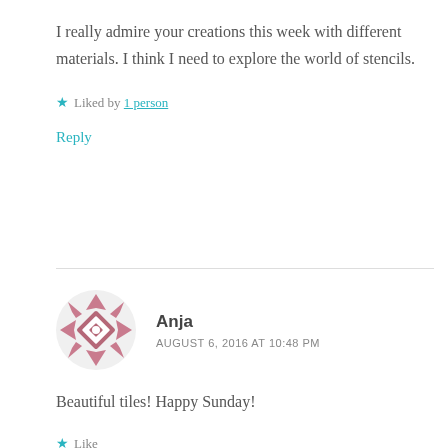I really admire your creations this week with different materials. I think I need to explore the world of stencils.
★ Liked by 1 person
Reply
Anja
AUGUST 6, 2016 AT 10:48 PM
Beautiful tiles! Happy Sunday!
★ Like
Reply